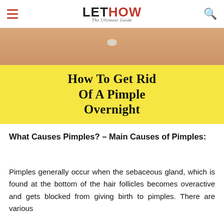LETHOW – The Ultimate Guide
[Figure (photo): Close-up photo of a person's chin/neck area with a cream spot on skin, overlaid with a yellow banner displaying the article title 'How to Get Rid Of a Pimple Overnight']
How to Get Rid Of a Pimple Overnight
What Causes Pimples? – Main Causes of Pimples:
Pimples generally occur when the sebaceous gland, which is found at the bottom of the hair follicles becomes overactive and gets blocked from giving birth to pimples. There are various